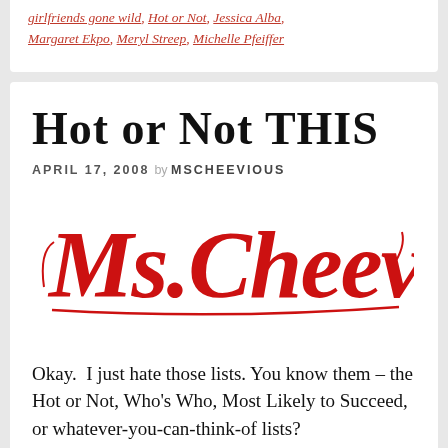girlfriends gone wild, Hot or Not, Jessica Alba, Margaret Ekpo, Meryl Streep, Michelle Pfeiffer
Hot or Not THIS
APRIL 17, 2008 by MSCHEEVIOUS
[Figure (logo): Ms. Cheevious logo in red cursive script]
Okay.  I just hate those lists. You know them – the Hot or Not, Who's Who, Most Likely to Succeed, or whatever-you-can-think-of lists?